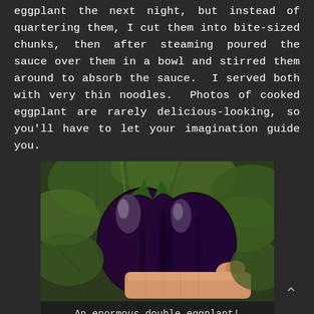eggplant the next night, but instead of quartering them, I cut them into bite-sized chunks, then after steaming poured the sauce over them in a bowl and stirred them around to absorb the sauce.  I served both with very thin noodles.  Photos of cooked eggplant are rarely delicious-looking, so you'll have to let your imagination guide you.
[Figure (photo): A hand holding an enormous double (twin) eggplant growing on the vine, surrounded by large green leaves. The eggplant is very large, dark purple/black and glossy.]
An enormous double eggplant!
There are many sauce mixtures on the Internet, but here